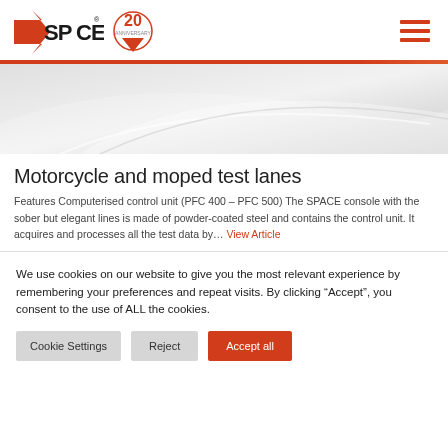[Figure (logo): SPACE logo with orange arrow and 20th anniversary badge, plus hamburger menu icon]
[Figure (illustration): Gray gradient hero banner with diagonal swoosh design]
Motorcycle and moped test lanes
Features Computerised control unit (PFC 400 – PFC 500) The SPACE console with the sober but elegant lines is made of powder-coated steel and contains the control unit. It acquires and processes all the test data by… View Article
We use cookies on our website to give you the most relevant experience by remembering your preferences and repeat visits. By clicking “Accept”, you consent to the use of ALL the cookies.